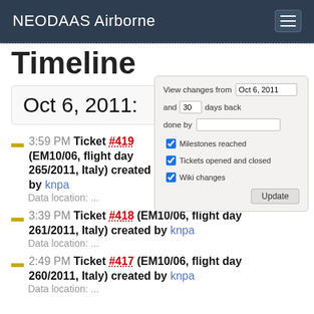NEODAAS Airborne
Timeline
Oct 6, 2011:
View changes from Oct 6, 2011 and 30 days back done by
3:59 PM Ticket #419 (EM10/06, flight day 265/2011, Italy) created by knpa
Data location: ...
3:39 PM Ticket #418 (EM10/06, flight day 261/2011, Italy) created by knpa
Data location: ...
2:49 PM Ticket #417 (EM10/06, flight day 260/2011, Italy) created by knpa
Data location: ...